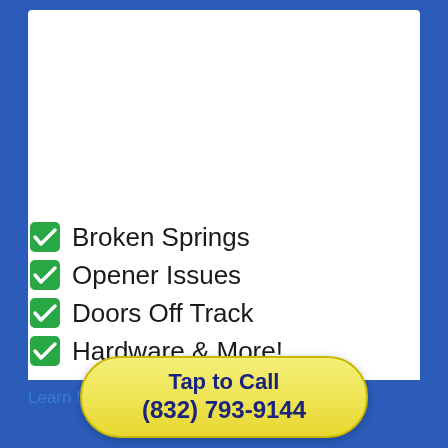Broken Springs
Opener Issues
Doors Off Track
Hardware & More!
Learn More
Tap to Call (832) 793-9144